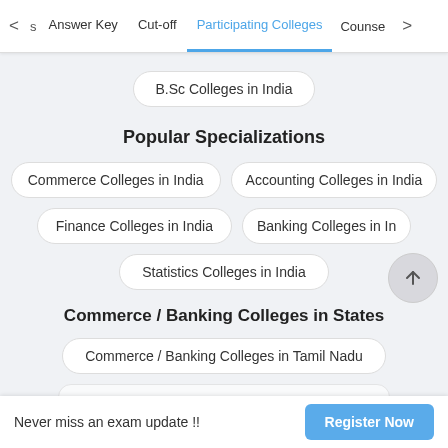< s  Answer Key  Cut-off  Participating Colleges  Counse >
B.Sc Colleges in India
Popular Specializations
Commerce Colleges in India
Accounting Colleges in India
Finance Colleges in India
Banking Colleges in In
Statistics Colleges in India
Commerce / Banking Colleges in States
Commerce / Banking Colleges in Tamil Nadu
Commerce / Banking Colleges in Maharasht...
Never miss an exam update !!   Register Now